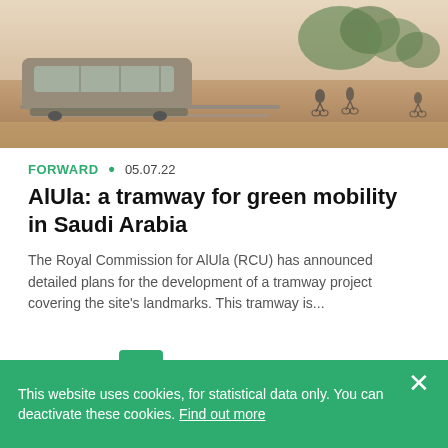[Figure (photo): Outdoor scene showing a tram/tramway vehicle on tracks in a desert landscape with trees and cyclists in the background, sandy terrain]
FORWARD • 05.07.22
AlUla: a tramway for green mobility in Saudi Arabia
The Royal Commission for AlUla (RCU) has announced detailed plans for the development of a tramway project covering the site's landmarks. This tramway is...
1  2  ...  30  →
This website uses cookies, for statistical data only. You can deactivate these cookies. Find out more